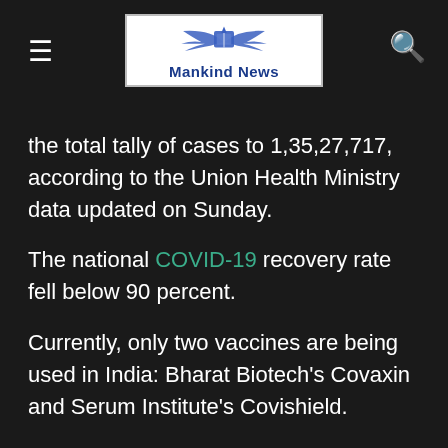Mankind News
the total tally of cases to 1,35,27,717, according to the Union Health Ministry data updated on Sunday.
The national COVID-19 recovery rate fell below 90 percent.
Currently, only two vaccines are being used in India: Bharat Biotech's Covaxin and Serum Institute's Covishield.
As India continues to grapple with a second, more potent wave of coronavirus pandemic, the country's vaccination plan hit another roadblock as at least six states have complained of a shortage of vaccine doses with many centres being forced to temporarily shut down.
We use non-personal cookies for analytics, and also some social media cookies to allow us to personalise ads. There are also one or two to take care of security. If you click 'Accept' this will allow us to use Analytics and Marketing cookies. You have full control over which cookies may be set by clicking 'Settings'.
The Indian pharma giant and the Russian Direct Investment Fund (RDIF) partnered up to conduct clinical trials for the